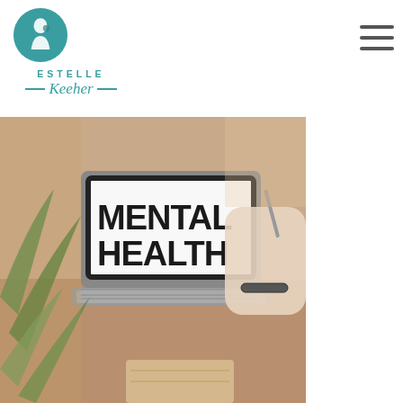[Figure (logo): Estelle Keeher logo with teal circle containing a mother and child silhouette, ESTELLE text in teal caps, and cursive Keeher with decorative dash lines]
[Figure (other): Hamburger menu icon with three horizontal lines]
[Figure (photo): Photo of a laptop screen displaying MENTAL HEALTH in bold black text on white background, with plant leaves in foreground and a person writing in the background]